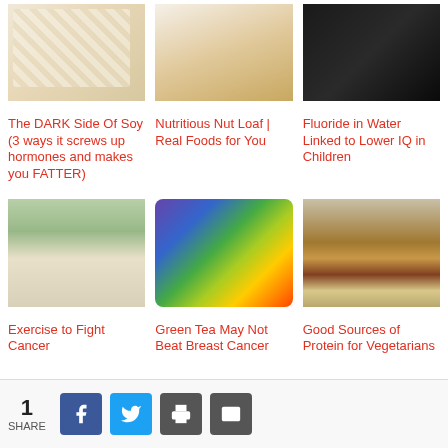[Figure (photo): Photo of white tofu cubes stacked]
The DARK Side Of Soy (3 ways it screws up hormones and makes you FATTER)
[Figure (photo): Photo of mixed nuts on a wooden board with milk]
Nutritious Nut Loaf | Real Foods for You
[Figure (photo): Dark background photo, nearly black]
Fluoride in Water Linked to Lower IQ in Children
[Figure (photo): Two people walking outdoors - a man and woman in light clothing]
Exercise to Fight Cancer
[Figure (photo): Colorful rainbow stripes on dark background]
Green Tea May Not Beat Breast Cancer
[Figure (photo): Various legumes and grains - lentils, beans, chickpeas]
Good Sources of Protein for Vegetarians
1 SHARE [Facebook] [Twitter] [Print] [Mail]